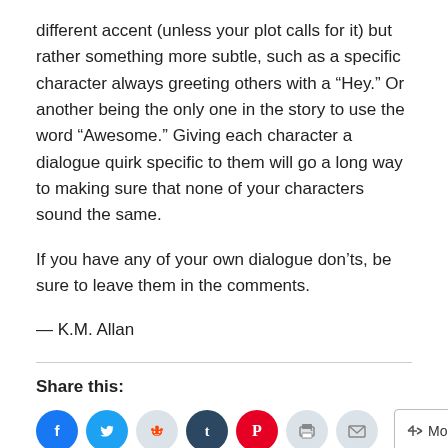different accent (unless your plot calls for it) but rather something more subtle, such as a specific character always greeting others with a “Hey.” Or another being the only one in the story to use the word “Awesome.” Giving each character a dialogue quirk specific to them will go a long way to making sure that none of your characters sound the same.
If you have any of your own dialogue don’ts, be sure to leave them in the comments.
— K.M. Allan
Share this: